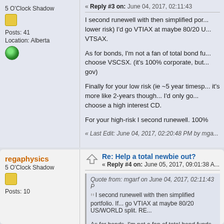5 O'Clock Shadow
Posts: 41
Location: Alberta
« Reply #3 on: June 04, 2017, 02:11:43
I second runewell with then simplified portfolio. If (lower risk) I'd go VTIAX at maybe 80/20 US/WORLD split. REPLACE VTSAX.
As for bonds, I'm not a fan of total bond fu... choose VSCSX. (it's 100% corporate, but... gov)
Finally for your low risk (ie ~5 year timesp... it's more like 2-years though... I'd only go... choose a high interest CD.
For your high-risk I second runewell. 100%
« Last Edit: June 04, 2017, 02:20:48 PM by mga...
regaphysics
5 O'Clock Shadow
Posts: 10
Re: Help a total newbie out?
« Reply #4 on: June 05, 2017, 09:01:38 A...
Quote from: mgarf on June 04, 2017, 02:11:43 P
I second runewell with then simplified portfolio. If... go VTIAX at maybe 80/20 US/WORLD split. RE...
As for bonds, I'm not a fan of total bond funds. S...